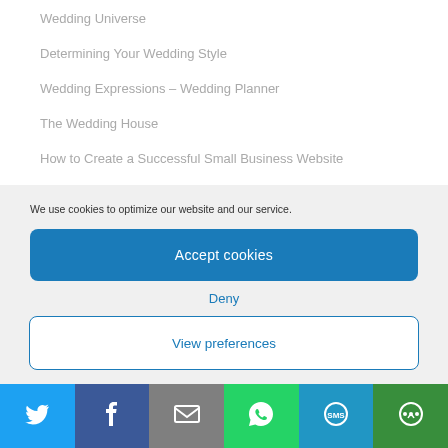Wedding Universe
Determining Your Wedding Style
Wedding Expressions – Wedding Planner
The Wedding House
How to Create a Successful Small Business Website
Photographer, Weddings and Portraits
We use cookies to optimize our website and our service.
Accept cookies
Deny
View preferences